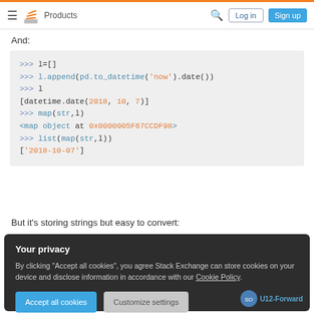Stack Overflow navigation bar with hamburger menu, logo, Products link, search icon, Log in and Sign up buttons
And:
But it's storing strings but easy to convert:
Your privacy
By clicking "Accept all cookies", you agree Stack Exchange can store cookies on your device and disclose information in accordance with our Cookie Policy.